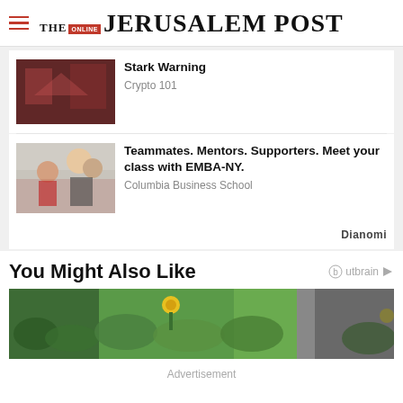THE JERUSALEM POST
[Figure (photo): Thumbnail image for Stark Warning article - Crypto 101]
Stark Warning
Crypto 101
[Figure (photo): Thumbnail image for Columbia Business School EMBA-NY article showing students in classroom]
Teammates. Mentors. Supporters. Meet your class with EMBA-NY.
Columbia Business School
Dianomi
You Might Also Like
[Figure (photo): Wide banner photo of a garden with green plants and yellow flowers]
Advertisement